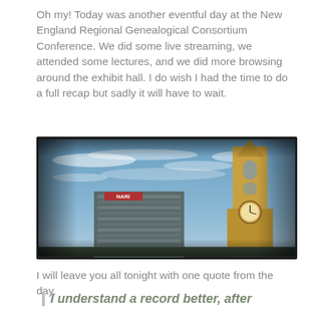Oh my!  Today was another eventful day at the New England Regional Genealogical Consortium Conference. We did some live streaming, we attended some lectures, and we did more browsing around the exhibit hall. I do wish I had the time to do a full recap but sadly it will have to wait.
[Figure (photo): Panoramic HDR-style photo showing a modern office building on the left and a tall ornate clock tower (steeple) on the right, against a blue sky with clouds. Dark vignette border around edges.]
I will leave you all tonight with one quote from the day.
I understand a record better, after